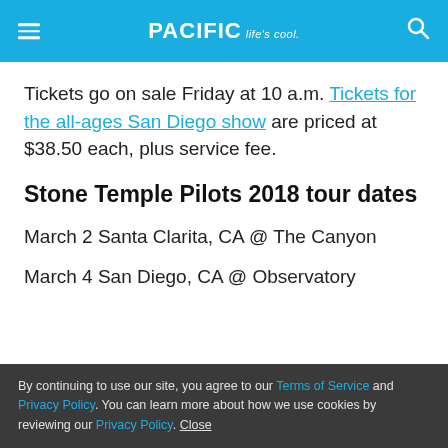PACIFIC Life's cool.
Tickets go on sale Friday at 10 a.m. Tickets for the all-ages San Diego show are priced at $38.50 each, plus service fee.
Stone Temple Pilots 2018 tour dates
March 2 Santa Clarita, CA @ The Canyon
March 4 San Diego, CA @ Observatory
By continuing to use our site, you agree to our Terms of Service and Privacy Policy. You can learn more about how we use cookies by reviewing our Privacy Policy. Close